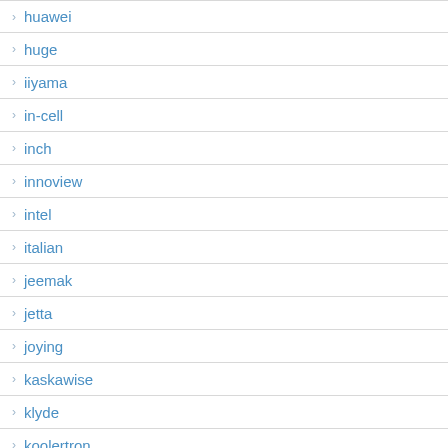huawei
huge
iiyama
in-cell
inch
innoview
intel
italian
jeemak
jetta
joying
kaskawise
klyde
koolertron
kumk